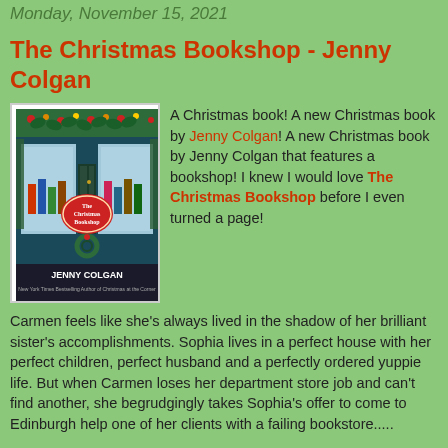Monday, November 15, 2021
The Christmas Bookshop - Jenny Colgan
[Figure (illustration): Book cover of 'The Christmas Bookshop' by Jenny Colgan, showing a decorated bookshop storefront with Christmas greenery and lights, red title text on a decorative label.]
A Christmas book! A new Christmas book by Jenny Colgan! A new Christmas book by Jenny Colgan that features a bookshop! I knew I would love The Christmas Bookshop before I even turned a page!
Carmen feels like she's always lived in the shadow of her brilliant sister's accomplishments. Sophia lives in a perfect house with her perfect children, perfect husband and a perfectly ordered yuppie life. But when Carmen loses her department store job and can't find another, she begrudgingly takes Sophia's offer to come to Edinburgh help one of her clients with a failing bookstore.....
Oh, I always love Colgan's settings. The bookstore is in the